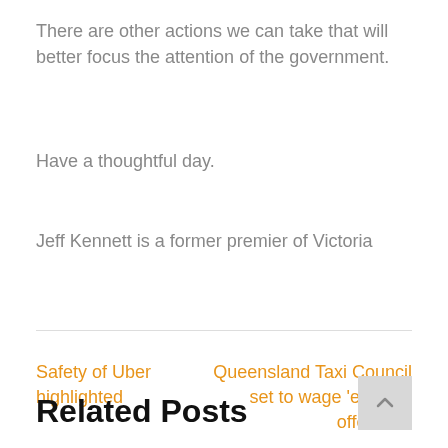There are other actions we can take that will better focus the attention of the government.
Have a thoughtful day.
Jeff Kennett is a former premier of Victoria
Safety of Uber highlighted
Queensland Taxi Council set to wage 'election offensive'
Related Posts